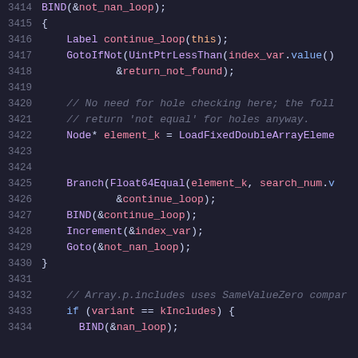3414    BIND(&not_nan_loop);
3415    {
3416        Label continue_loop(this);
3417        GotoIfNot(UintPtrLessThan(index_var.value()
3418                &return_not_found);
3419
3420        // No need for hole checking here; the foll
3421        // return 'not equal' for holes anyway.
3422        Node* element_k = LoadFixedDoubleArrayEleme
3423
3424
3425        Branch(Float64Equal(element_k, search_num.v
3426                &continue_loop);
3427        BIND(&continue_loop);
3428        Increment(&index_var);
3429        Goto(&not_nan_loop);
3430    }
3431
3432    // Array.p.includes uses SameValueZero compar
3433    if (variant == kIncludes) {
3434      BIND(&nan_loop);